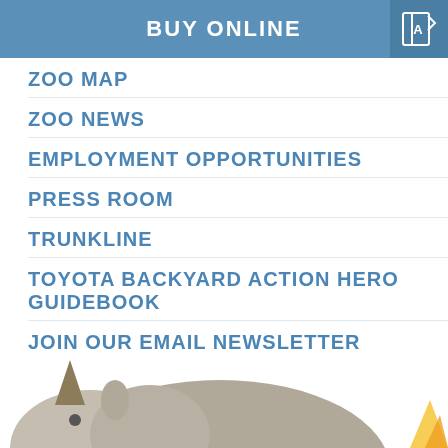BUY ONLINE
ZOO MAP
ZOO NEWS
EMPLOYMENT OPPORTUNITIES
PRESS ROOM
TRUNKLINE
TOYOTA BACKYARD ACTION HERO GUIDEBOOK
JOIN OUR EMAIL NEWSLETTER
[Figure (illustration): Partial illustration of a rhinoceros at the bottom of the page]